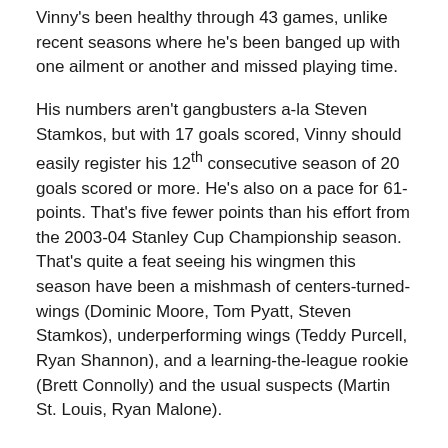Vinny's been healthy through 43 games, unlike recent seasons where he's been banged up with one ailment or another and missed playing time.
His numbers aren't gangbusters a-la Steven Stamkos, but with 17 goals scored, Vinny should easily register his 12th consecutive season of 20 goals scored or more. He's also on a pace for 61-points. That's five fewer points than his effort from the 2003-04 Stanley Cup Championship season. That's quite a feat seeing his wingmen this season have been a mishmash of centers-turned-wings (Dominic Moore, Tom Pyatt, Steven Stamkos), underperforming wings (Teddy Purcell, Ryan Shannon), and a learning-the-league rookie (Brett Connolly) and the usual suspects (Martin St. Louis, Ryan Malone).